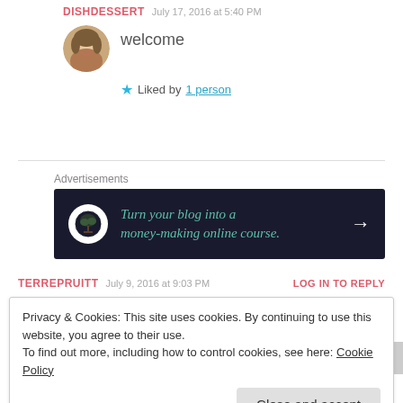DISHDESSERT  July 17, 2016 at 5:40 PM
welcome
★ Liked by 1 person
Advertisements
[Figure (infographic): Dark banner ad: Turn your blog into a money-making online course. with a bonsai tree icon on left and arrow on right.]
TERREPRUITT  July 9, 2016 at 9:03 PM  LOG IN TO REPLY
Privacy & Cookies: This site uses cookies. By continuing to use this website, you agree to their use. To find out more, including how to control cookies, see here: Cookie Policy
Close and accept